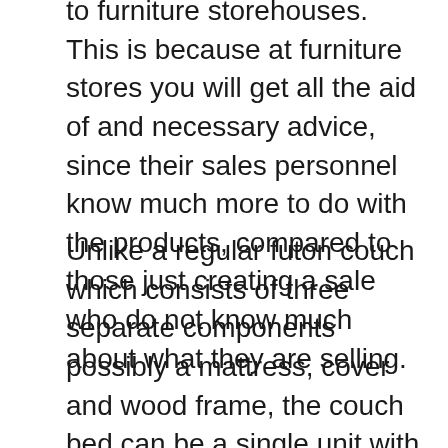to furniture storehouses. This is because at furniture stores you will get all the aid of and necessary advice, since their sales personnel know much more to do with the products, compared to those just creating a sale who do not know much about what they are selling.
Unlike a regular futon couch which consists of three separate components possibly a mattress, cover and wood frame, the couch bed can be a single unit with an innerspring mattress built in just. Many SB (sofa beds) offer the added convenience of storage space where blankets, sheets, and pillows could be kept. Unique color schemes, contemporary styles and extreme functionality make sofa beds an excellent